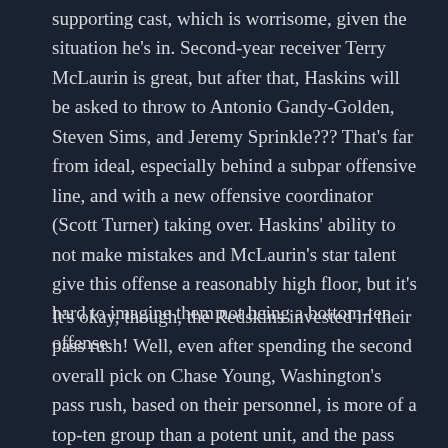supporting cast, which is worrisome, given the situation he's in. Second-year receiver Terry McLaurin is great, but after that, Haskins will be asked to throw to Antonio Gandy-Golden, Steven Sims, and Jeremy Sprinkle??? That's far from ideal, especially behind a subpar offensive line, and with a new offensive coordinator (Scott Turner) taking over. Haskins' ability to not make mistakes and McLaurin's star talent give this offense a reasonably high floor, but it's hard to imagine them not being a bottom-ten offense.
It's okay, though, the Redskins invested in their pass rush! Well, even after spending the second overall pick on Chase Young, Washington's pass rush, based on their personnel, is more of a top-ten group than a potent unit, and the pass coverage is an absolute mess. A cornerback trio of Ronald Darby, Fabian Moreau, and Kendall Fuller doesn't really inspire me, nor does their collection of linebackers, to say the least. This defense looks...